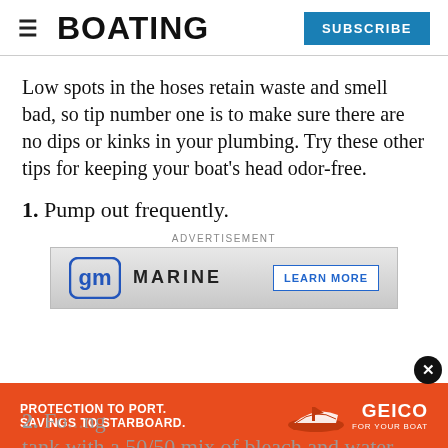BOATING | SUBSCRIBE
Low spots in the hoses retain waste and smell bad, so tip number one is to make sure there are no dips or kinks in your plumbing. Try these other tips for keeping your boat’s head odor-free.
1. Pump out frequently.
ADVERTISEMENT
[Figure (other): GM Marine advertisement with GM logo and LEARN MORE button]
[Figure (other): GEICO for your boat advertisement: PROTECTION TO PORT. SAVINGS TO STARBOARD.]
2. Fo...ng tank with a 50/50 mix of bleach and water